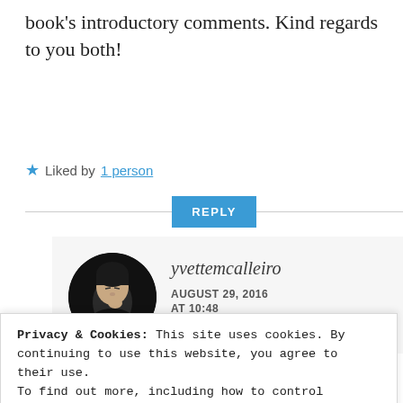book's introductory comments. Kind regards to you both!
★ Liked by 1 person
REPLY
yvettemcalleiro
AUGUST 29, 2016 AT 10:48
Privacy & Cookies: This site uses cookies. By continuing to use this website, you agree to their use.
To find out more, including how to control cookies, see here: Cookie Policy
Close and accept
marethabotha2013